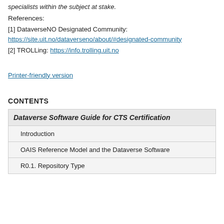specialists within the subject at stake.
References:
[1] DataverseNO Designated Community: https://site.uit.no/dataverseno/about/#designated-community
[2] TROLLing: https://info.trolling.uit.no
Printer-friendly version
CONTENTS
| Dataverse Software Guide for CTS Certification |
| Introduction |
| OAIS Reference Model and the Dataverse Software |
| R0.1. Repository Type |